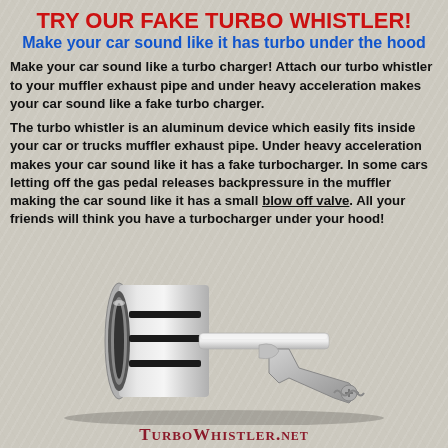TRY OUR FAKE TURBO WHISTLER!
Make your car sound like it has turbo under the hood
Make your car sound like a turbo charger! Attach our turbo whistler to your muffler exhaust pipe and under heavy acceleration makes your car sound like a fake turbo charger.
The turbo whistler is an aluminum device which easily fits inside your car or trucks muffler exhaust pipe. Under heavy acceleration makes your car sound like it has a fake turbocharger. In some cars letting off the gas pedal releases backpressure in the muffler making the car sound like it has a small blow off valve. All your friends will think you have a turbocharger under your hood!
[Figure (photo): Photo of a silver aluminum turbo whistler device with black o-rings and a metal clamp attachment]
TurboWhistler.net